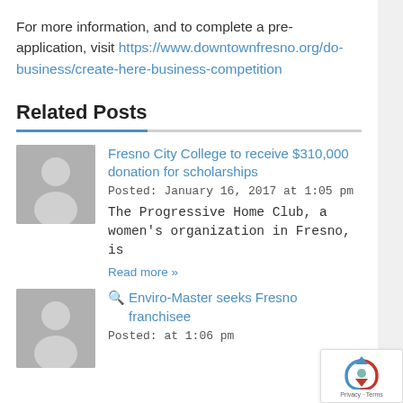For more information, and to complete a pre-application, visit https://www.downtownfresno.org/do-business/create-here-business-competition
Related Posts
[Figure (illustration): Grey avatar placeholder image for first related post]
Fresno City College to receive $310,000 donation for scholarships
Posted: January 16, 2017 at 1:05 pm
The Progressive Home Club, a women's organization in Fresno, is
Read more »
[Figure (illustration): Grey avatar placeholder image for second related post]
Enviro-Master seeks Fresno franchisee
Posted: at 1:06 pm